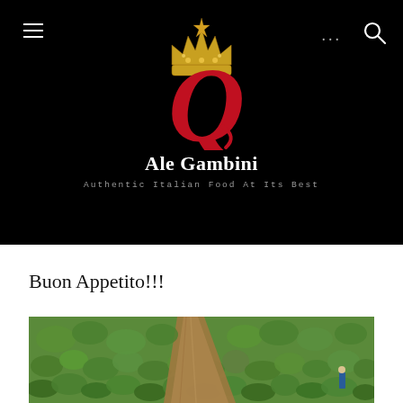[Figure (logo): Ale Gambini restaurant logo: golden crown above a large red cursive Q letter on black background]
Ale Gambini
Authentic Italian Food At Its Best
Buon Appetito!!!
[Figure (photo): Aerial/ground view of a strawberry field with green plants and a dirt path, person visible at right edge]